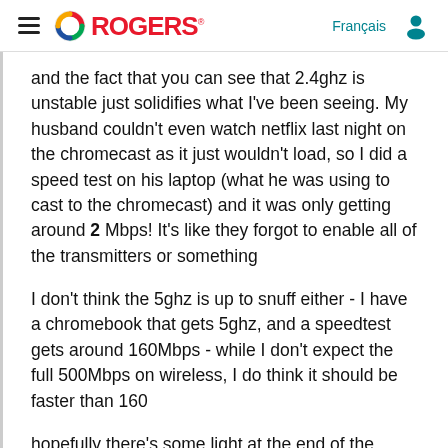Rogers
and the fact that you can see that 2.4ghz is unstable just solidifies what I've been seeing.  My husband couldn't even watch netflix last night on the chromecast as it just wouldn't load, so I did a speed test on his laptop (what he was using to cast to the chromecast) and it was only getting around 2 Mbps!  It's like they forgot to enable all of the transmitters or something
I don't think the 5ghz is up to snuff either - I have a chromebook that gets 5ghz, and a speedtest gets around 160Mbps - while I don't expect the full 500Mbps on wireless, I do think it should be faster than 160
hopefully there's some light at the end of the tunnel because the 2.4ghz is pretty much unusable for anything